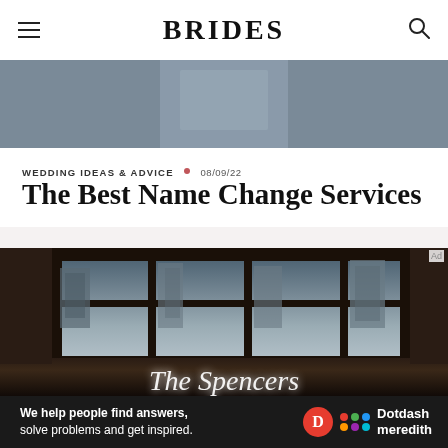BRIDES
[Figure (photo): Partial photo at top of page showing a person in formal clothing, cropped]
WEDDING IDEAS & ADVICE • 08/09/22
The Best Name Change Services
[Figure (photo): Dark atmospheric photo showing large multi-pane windows with city buildings visible through them, and white neon cursive script reading 'The Spencers' in the lower portion]
Ad
We help people find answers, solve problems and get inspired.  Dotdash meredith